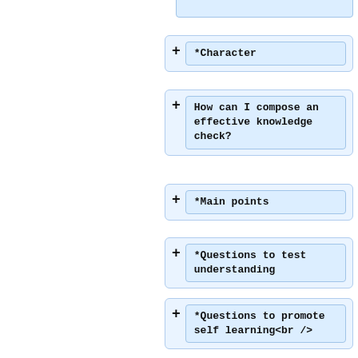*Character
How can I compose an effective knowledge check?
*Main points
*Questions to test understanding
*Questions to promote self learning<br />
Test Your Understanding and Feedback - 3 question quiz<br />
Apply your Knowledge - Compose the pre-class plan<br />
Putting the Plan into